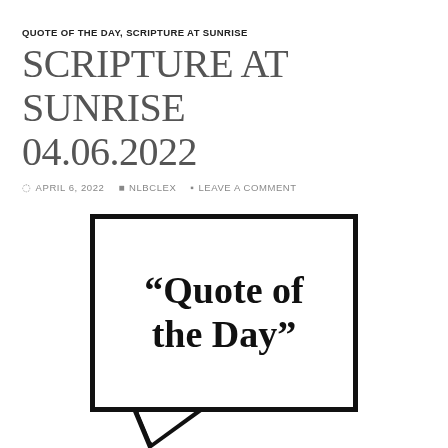QUOTE OF THE DAY, SCRIPTURE AT SUNRISE
SCRIPTURE AT SUNRISE 04.06.2022
APRIL 6, 2022  NLBCLEX  LEAVE A COMMENT
[Figure (illustration): Speech bubble graphic with text 'Quote of the Day' in bold serif font inside a thick black rectangular speech bubble outline with a triangular tail at the bottom left. Below the bubble: 'A weekly quote from a book, sermon, blog, article or elsewhere.']